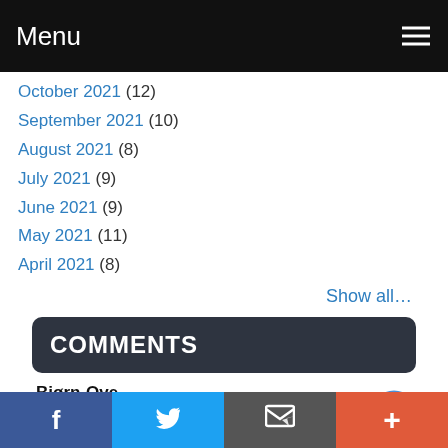Menu
October 2021 (12)
September 2021 (10)
August 2021 (8)
July 2021 (9)
June 2021 (9)
May 2021 (11)
April 2021 (8)
Show all…
COMMENTS
Bjørn-Ove
Powercli Get vCenter licenses information
July 1, 2022 02:14AM
f | Twitter | Email | +